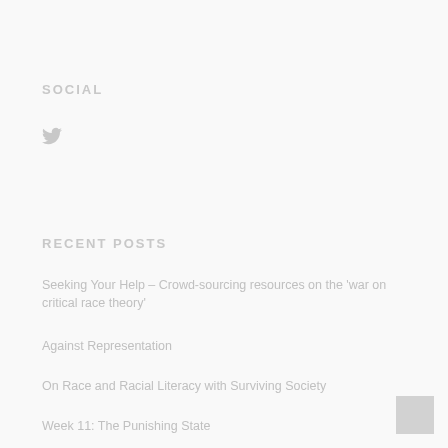SOCIAL
🐦
RECENT POSTS
Seeking Your Help – Crowd-sourcing resources on the 'war on critical race theory'
Against Representation
On Race and Racial Literacy with Surviving Society
Week 11: The Punishing State